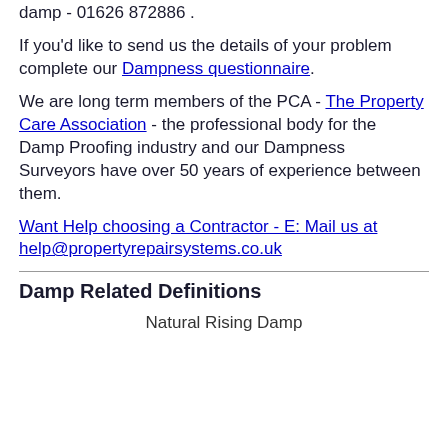damp - 01626 872886 .
If you'd like to send us the details of your problem complete our Dampness questionnaire.
We are long term members of the PCA - The Property Care Association - the professional body for the Damp Proofing industry and our Dampness Surveyors have over 50 years of experience between them.
Want Help choosing a Contractor - E: Mail us at help@propertyrepairsystems.co.uk
Damp Related Definitions
Natural Rising Damp